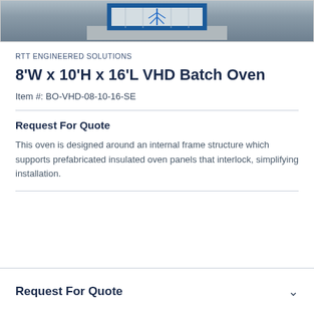[Figure (photo): Photo of an 8'W x 10'H x 16'L VHD Batch Oven in a facility, framed with blue structural borders, showing interior panel construction on a concrete floor.]
RTT ENGINEERED SOLUTIONS
8'W x 10'H x 16'L VHD Batch Oven
Item #: BO-VHD-08-10-16-SE
Request For Quote
This oven is designed around an internal frame structure which supports prefabricated insulated oven panels that interlock, simplifying installation.
Request For Quote